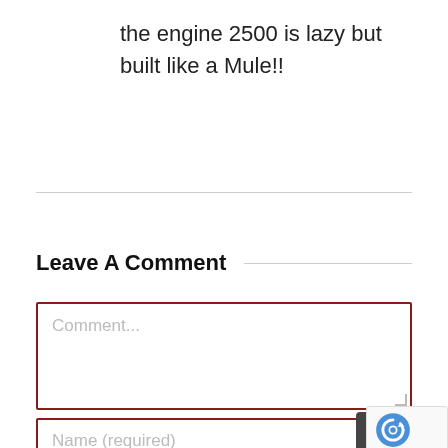the engine 2500 is lazy but built like a Mule!!
Leave A Comment
Comment...
Name (required)